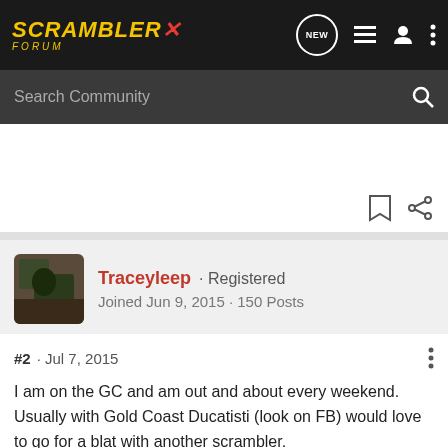SCRAMBLER X FORUM
Search Community
Traceyleep · Registered
Joined Jun 9, 2015 · 150 Posts
#2 · Jul 7, 2015
I am on the GC and am out and about every weekend. Usually with Gold Coast Ducatisti (look on FB) would love to go for a blat with another scrambler.